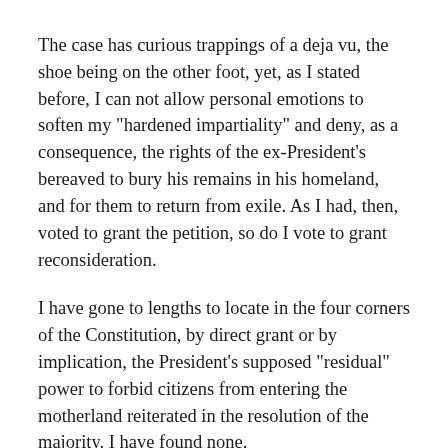The case has curious trappings of a deja vu, the shoe being on the other foot, yet, as I stated before, I can not allow personal emotions to soften my "hardened impartiality" and deny, as a consequence, the rights of the ex-President's bereaved to bury his remains in his homeland, and for them to return from exile. As I had, then, voted to grant the petition, so do I vote to grant reconsideration.
I have gone to lengths to locate in the four corners of the Constitution, by direct grant or by implication, the President's supposed "residual" power to forbid citizens from entering the motherland reiterated in the resolution of the majority. I have found none.
I am not agreed, that: